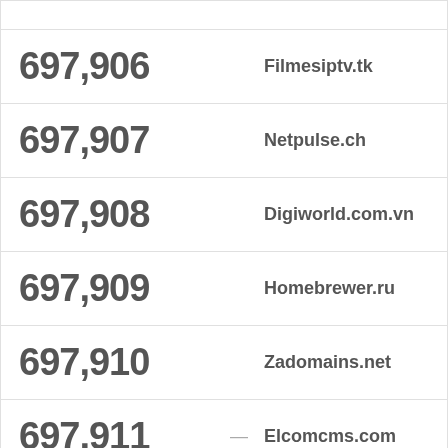| Rank | Domain |
| --- | --- |
| 697,906 | Filmesiptv.tk |
| 697,907 | Netpulse.ch |
| 697,908 | Digiworld.com.vn |
| 697,909 | Homebrewer.ru |
| 697,910 | Zadomains.net |
| 697,911 | Elcomcms.com |